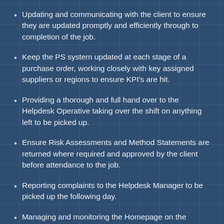Updating and communicating with the client to ensure they are updated promptly and efficiently through to completion of the job.
Keep the PS system updated at each stage of a purchase order, working closely with key assigned suppliers or regions to ensure KPI's are hit.
Providing a thorough and full hand over to the Helpdesk Operative taking over the shift on anything left to be picked up.
Ensure Risk Assessments and Method Statements are returned where required and approved by the client before attendance to the job.
Reporting complaints to the Helpdesk Manager to be picked up the following day.
Managing and monitoring the Homepage on the